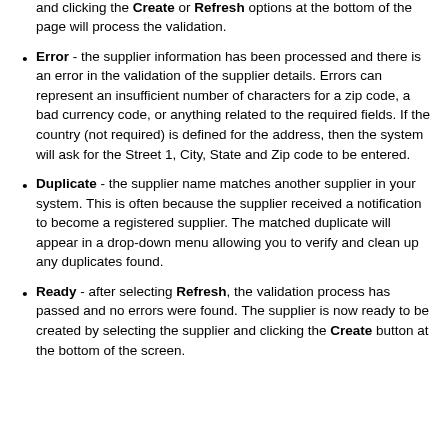Unprocessed - the supplier details were loaded but have not yet been validated. Selecting the supplier with the check box and clicking the Create or Refresh options at the bottom of the page will process the validation.
Error - the supplier information has been processed and there is an error in the validation of the supplier details. Errors can represent an insufficient number of characters for a zip code, a bad currency code, or anything related to the required fields. If the country (not required) is defined for the address, then the system will ask for the Street 1, City, State and Zip code to be entered.
Duplicate - the supplier name matches another supplier in your system. This is often because the supplier received a notification to become a registered supplier. The matched duplicate will appear in a drop-down menu allowing you to verify and clean up any duplicates found.
Ready - after selecting Refresh, the validation process has passed and no errors were found. The supplier is now ready to be created by selecting the supplier and clicking the Create button at the bottom of the screen.